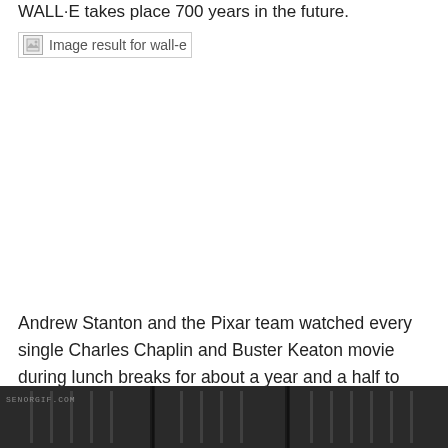WALL-E takes place 700 years in the future.
[Figure (other): Broken image placeholder labeled 'Image result for wall-e']
Andrew Stanton and the Pixar team watched every single Charles Chaplin and Buster Keaton movie during lunch breaks for about a year and a half to inspire the possibilities of pure visual storytelling.
[Figure (photo): Black and white film still, likely from a Charles Chaplin or Buster Keaton movie. Watermark reads SENORGIF.COM at bottom left.]